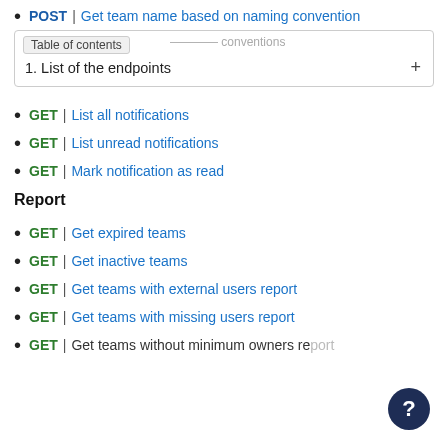POST | Get team name based on naming convention
Table of contents — naming conventions
1. List of the endpoints +
GET | List all notifications
GET | List unread notifications
GET | Mark notification as read
Report
GET | Get expired teams
GET | Get inactive teams
GET | Get teams with external users report
GET | Get teams with missing users report
GET | Get teams without minimum owners report